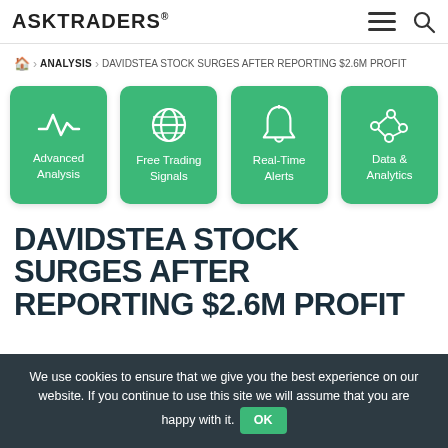ASKTRADERS
🏠 > ANALYSIS > DAVIDSTEA STOCK SURGES AFTER REPORTING $2.6M PROFIT
[Figure (infographic): Four green rounded-square feature cards: Advanced Analysis (waveform icon), Free Trading Signals (globe icon), Real-Time Alerts (bell icon), Data & Analytics (network/analytics icon)]
DAVIDSTEA STOCK SURGES AFTER REPORTING $2.6M PROFIT
We use cookies to ensure that we give you the best experience on our website. If you continue to use this site we will assume that you are happy with it. OK